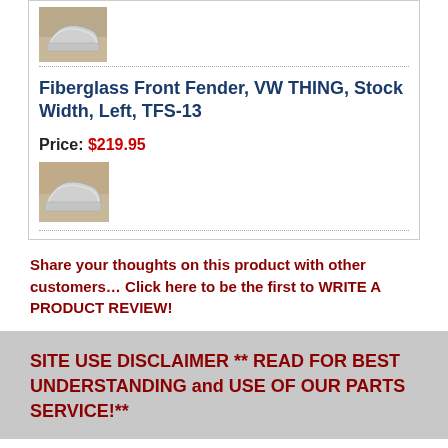[Figure (photo): Small thumbnail photo of fiberglass front fender part (grey/white fender on sandy background), top of product card]
Fiberglass Front Fender, VW THING, Stock Width, Left, TFS-13
Price: $219.95
[Figure (photo): Small thumbnail photo of fiberglass front fender part (grey/white fender on sandy background), bottom of product card]
Share your thoughts on this product with other customers… Click here to be the first to WRITE A PRODUCT REVIEW!
SITE USE DISCLAIMER ** READ FOR BEST UNDERSTANDING and USE OF OUR PARTS SERVICE!**